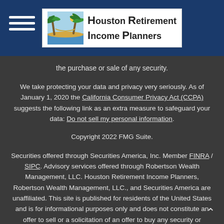Houston Retirement Income Planners
the purchase or sale of any security.
We take protecting your data and privacy very seriously. As of January 1, 2020 the California Consumer Privacy Act (CCPA) suggests the following link as an extra measure to safeguard your data: Do not sell my personal information.
Copyright 2022 FMG Suite.
Securities offered through Securities America, Inc. Member FINRA / SIPC. Advisory services offered through Robertson Wealth Management, LLC. Houston Retirement Income Planners, Robertson Wealth Management, LLC., and Securities America are unaffiliated. This site is published for residents of the United States and is for informational purposes only and does not constitute an offer to sell or a solicitation of an offer to buy any security or product that may be referenced herein. Persons mentioned on this website may only offer services and transact business